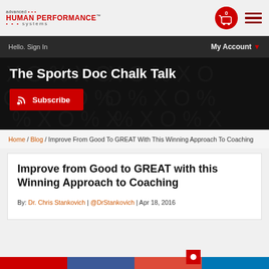advanced HUMAN PERFORMANCE systems
Hello. Sign In   My Account
The Sports Doc Chalk Talk
Subscribe
Home / Blog / Improve From Good To GREAT With This Winning Approach To Coaching
Improve from Good to GREAT with this Winning Approach to Coaching
By: Dr. Chris Stankovich | @DrStankovich | Apr 18, 2016